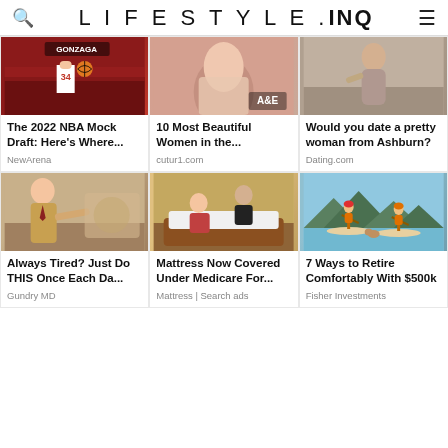LIFESTYLE.INQ
[Figure (photo): Basketball player #34 dribbling on court]
The 2022 NBA Mock Draft: Here's Where...
NewArena
[Figure (photo): Woman torso shot with A&E logo watermark]
10 Most Beautiful Women in the...
cutur1.com
[Figure (photo): Woman in casual clothes standing]
Would you date a pretty woman from Ashburn?
Dating.com
[Figure (photo): Doctor pointing at something, medical imagery]
Always Tired? Just Do THIS Once Each Da...
Gundry MD
[Figure (photo): Elderly couple making a bed in a hotel room]
Mattress Now Covered Under Medicare For...
Mattress | Search ads
[Figure (illustration): Illustration of two people paddleboarding on a lake with mountains and a dog]
7 Ways to Retire Comfortably With $500k
Fisher Investments